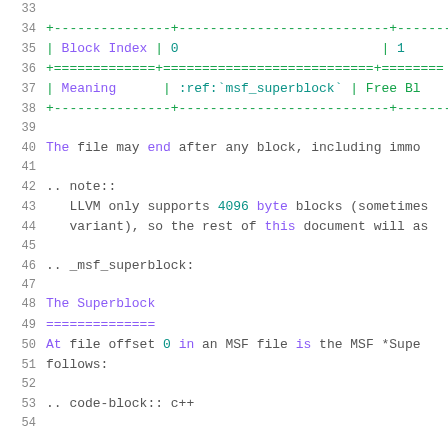33  (empty line)
34  +---------------+---------------------------+--------
35  | Block Index | 0                          | 1
36  +=============+===========================+========
37  | Meaning      | :ref:`msf_superblock`  | Free Bl
38  +---------------+---------------------------+--------
39  (empty line)
40  The file may end after any block, including imme
41  (empty line)
42  .. note::
43     LLVM only supports 4096 byte blocks (sometimes
44     variant), so the rest of this document will as
45  (empty line)
46  .. _msf_superblock:
47  (empty line)
48  The Superblock
49  ==============
50  At file offset 0 in an MSF file is the MSF *Supe
51  follows:
52  (empty line)
53  .. code-block:: c++
54  (empty line)